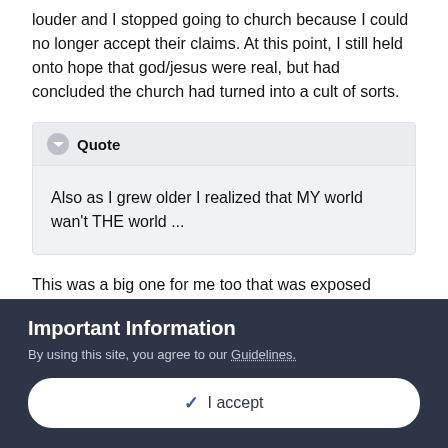louder and I stopped going to church because I could no longer accept their claims. At this point, I still held onto hope that god/jesus were real, but had concluded the church had turned into a cult of sorts.
Quote
Also as I grew older I realized that MY world wan't THE world ...
This was a big one for me too that was exposed through travel. I first moved to DC from Idaho and realized there wasn't the type of overwhelming presence of fundamentalist xianity in that area as what I grew up with. Episcopal was the primary religion in the
Important Information
By using this site, you agree to our Guidelines.
✓ I accept